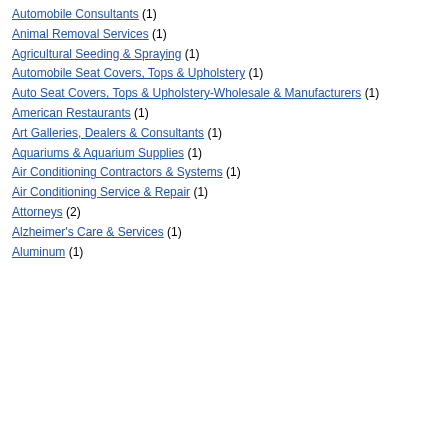Automobile Consultants (1)
Animal Removal Services (1)
Agricultural Seeding & Spraying (1)
Automobile Seat Covers, Tops & Upholstery (1)
Auto Seat Covers, Tops & Upholstery-Wholesale & Manufacturers (1)
American Restaurants (1)
Art Galleries, Dealers & Consultants (1)
Aquariums & Aquarium Supplies (1)
Air Conditioning Contractors & Systems (1)
Air Conditioning Service & Repair (1)
Attorneys (2)
Alzheimer's Care & Services (1)
Aluminum (1)